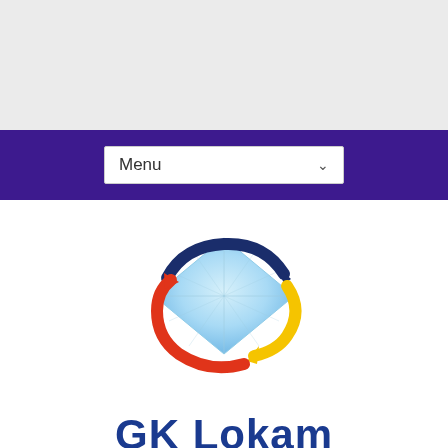[Figure (screenshot): Gray top bar area of a website]
[Figure (screenshot): Purple navigation bar with a white Menu dropdown containing a chevron/down arrow]
[Figure (logo): GK Lokam logo: a globe/sphere shape in light blue with geometric facets, surrounded by three curved arrows in dark navy blue, red/orange, and yellow. Below the graphic is the text 'GK Lokam' in bold dark blue.]